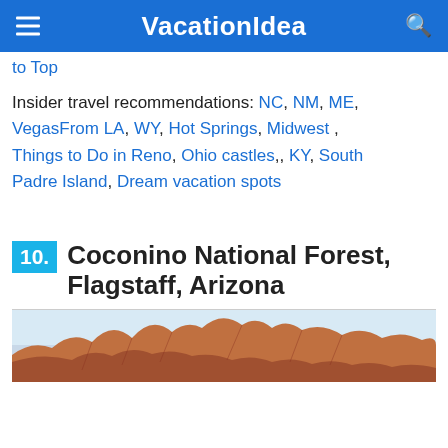VacationIdea
to Top
Insider travel recommendations: NC, NM, ME, VegasFrom LA, WY, Hot Springs, Midwest , Things to Do in Reno, Ohio castles,, KY, South Padre Island, Dream vacation spots
10. Coconino National Forest, Flagstaff, Arizona
[Figure (photo): Photo of red rock mountains in Coconino National Forest near Flagstaff, Arizona]